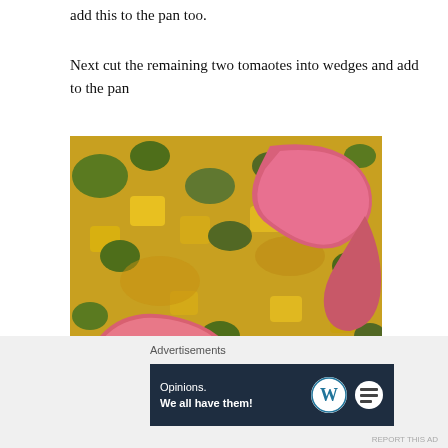add this to the pan too.
Next cut the remaining two tomaotes into wedges and add to the pan
[Figure (photo): Close-up photo of tomato wedges on a pan with yellow and green vegetable pieces in a sauce or oil]
Advertisements
[Figure (infographic): Advertisement banner with dark navy background reading 'Opinions. We all have them!' with WordPress logo and another circular icon]